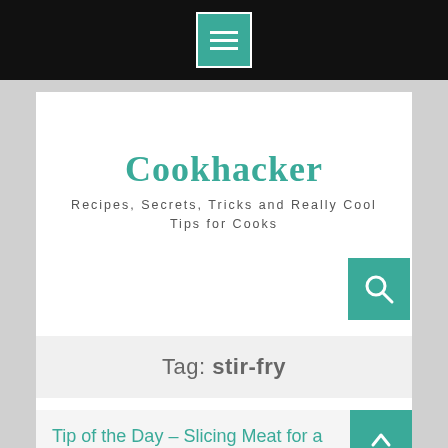[Figure (screenshot): Black top navigation bar with teal hamburger/menu icon button centered]
Cookhacker
Recipes, Secrets, Tricks and Really Cool Tips for Cooks
[Figure (other): Teal search icon button]
Tag: stir-fry
Tip of the Day – Slicing Meat for a Stir-fry